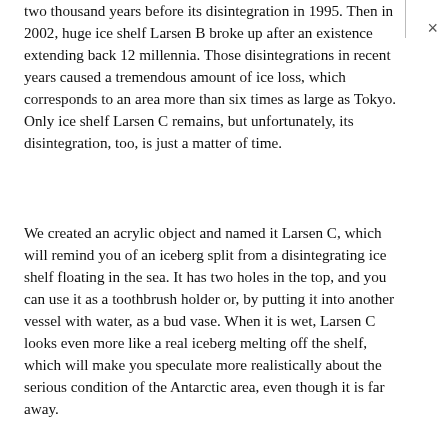two thousand years before its disintegration in 1995. Then in 2002, huge ice shelf Larsen B broke up after an existence extending back 12 millennia. Those disintegrations in recent years caused a tremendous amount of ice loss, which corresponds to an area more than six times as large as Tokyo. Only ice shelf Larsen C remains, but unfortunately, its disintegration, too, is just a matter of time.
We created an acrylic object and named it Larsen C, which will remind you of an iceberg split from a disintegrating ice shelf floating in the sea. It has two holes in the top, and you can use it as a toothbrush holder or, by putting it into another vessel with water, as a bud vase. When it is wet, Larsen C looks even more like a real iceberg melting off the shelf, which will make you speculate more realistically about the serious condition of the Antarctic area, even though it is far away.